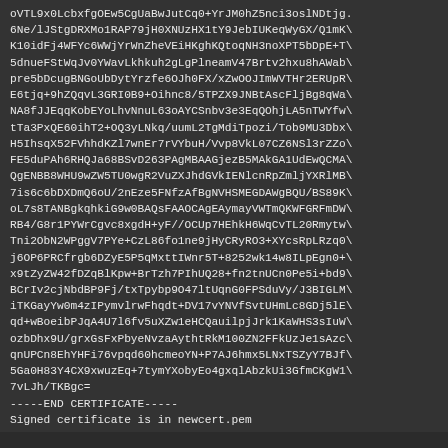oVTL9x0LcbxfgOEw5CgUaBwJutCq0+YrJM0hZ5nci3oslNDtjg.
6Ne/lJStgDRXMo1RAP79jH0XNUzHX1tY9JebIUKeqWyGX/Q1mK
K10idFj4WFYc6WWjYrWnZheVEiHKghKQtoqNH3noXPT5bDpE+T
5dnueFStWqJv0YWavLkhkuh2gLgPlneamV47Brtv2hxu8hAWab
pre5bDcugBNGoUbDytYrzfe6OJh0FX/xZwOOJImWVTHr2ERUpR
E6tjq+9hZQqvL3GRI0B9+Oihnc8/5TPZX9JNBtAscFljBg8qWa
NA8fJJEqqKobEYoLhvNnuL63oAYCSnbv3e3EqQOhjLA5nTWYfw
tTa3PxQE60ihT2+OQ3yLNkq/uumL2TgMdiTpozi/Tob9MU3Dbx
H5IhsqX52FVhhdKZl7wnEr7rVYbuH/Vvp8VkL07CZ6NSl3rZZo
FE5duPAh6RHQJa68BSvD263PAgMBAAGjezB5MAkGA1UdEwQCMA
QgENBB8WHU9wZW5TU0wgR2VuZXJhdGVkIENlcnRpZmljYXRlMB
7is6c6bDXDmQ6oU/2nEze5FNfzAfBgNVHSMEGDAWgBQU/BS89K
oL7s8TANBgkqhkiG9w0BAQsFAAOCAgEAymayVWTmQKWFGRFmDW
RB4/G8r1PYWrCgvc8xgdH+yF//OCUp7HEhkH6WqCvTL20Rmytw
Tni2ObN2WPggV7PYe+CzL86fo1ne9jHyCRyRO3+XYcsRpLRzq0
j6OP6PRCfrgb6DZyE5P5qMxttIWnr5T+8252wk14w8ILpEgn0+
x9tZyZW42fDZqBlKpw+BrTzh7PIhUQ28+fn2tnUCn0Pe5i+bd9
BCrIv2cjNbdBP9Fj/txTpybp9O47ltUqnG0FPSduVy/J3BIGLM
iTKGayYw0m4zIPymvlrwFhqdt+DV17vYNVfSvtUHmLc8GDj5lE
qd+wBoeibPJqA4U7l6fv5uXZw1eHCQauilpjJrk1KaWHS3sIuW
ozbDhx9U/grxGsFxPbyeNvzaAythtRkM100ZN2FFkUzJe1sAzc
qnUPCn8EhYHFi76vpqd60hcmeoYN+P7AJ6hmx5LNxTSZyY7BJf
5Ga0H83Y4CX9xwuzEq+7tymYXobyEo4gxqlAbzkUi3GfmCKgW1
7vLJh/TKBgc=
-----END CERTIFICATE-----
Signed certificate is in newcert.pem
The script automatically renamed the newly signed certificate. In the above example, the signed certificate is in www.example.com.2014.crt. Transfer